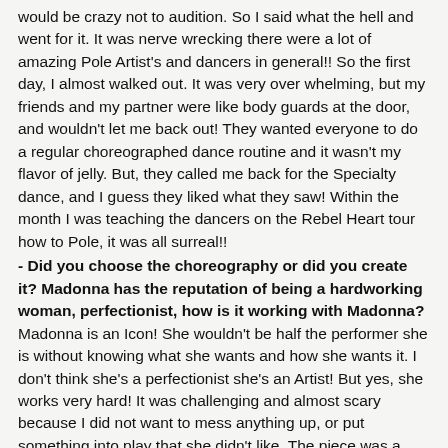would be crazy not to audition.  So I said what the hell and went for it.  It was nerve wrecking there were a lot of amazing Pole Artist's and dancers in general!! So the first day, I almost walked out.  It was very over whelming, but my friends and my partner were like body guards at the door, and wouldn't let me back out!  They wanted everyone to do a regular choreographed dance routine and it wasn't my flavor of jelly.  But, they called me back for the Specialty dance, and I guess they liked what they saw! Within the month I was teaching the dancers on the Rebel Heart tour how to Pole, it was all surreal!!
- Did you choose the choreography or did you create it? Madonna has the reputation of being a hardworking woman, perfectionist, how is it working with Madonna? Madonna is an Icon!  She wouldn't be half the performer she is without knowing what she wants and how she wants it.  I don't think she's a perfectionist she's an Artist! But yes, she works very hard!  It was challenging and almost scary because I did not want to mess anything up, or put something into play that she didn't like.  The piece was a collaboration.  Madonna has a staff of amazing choreographers that pieced it all together, and needed specific input on the Pole Pieces for the tour!
- The dancers are wearing a nun costume during Holy